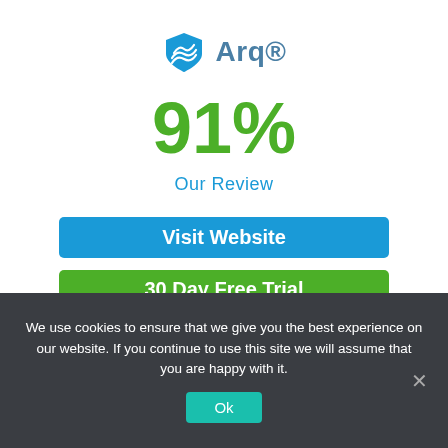[Figure (logo): Arq shield logo with mountain/wave lines in blue and the text Arq® in bold blue]
91%
Our Review
Visit Website
30 Day Free Trial
We use cookies to ensure that we give you the best experience on our website. If you continue to use this site we will assume that you are happy with it.
Ok